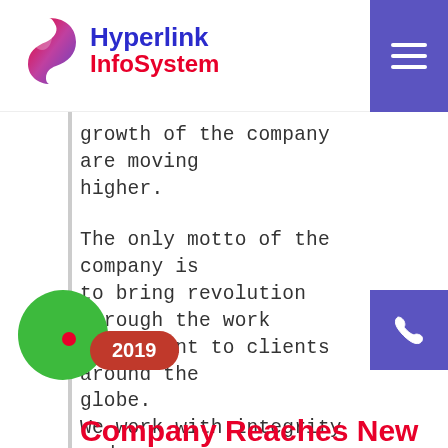[Figure (logo): Hyperlink InfoSystem company logo with stylized S/phone icon in pink/purple gradient, company name in blue and red]
[Figure (other): Purple hamburger menu button in top-right corner]
growth of the company are moving higher.
The only motto of the company is to bring revolution through the work we present to clients around the globe. We work with integrity and we are renowned for that. We will always have our growth by maintaining our ethics and best quality.
[Figure (other): Purple phone icon button on right side]
[Figure (infographic): Timeline element: large green circle node with small red dot and red pill badge showing '2019']
Company Reaches New